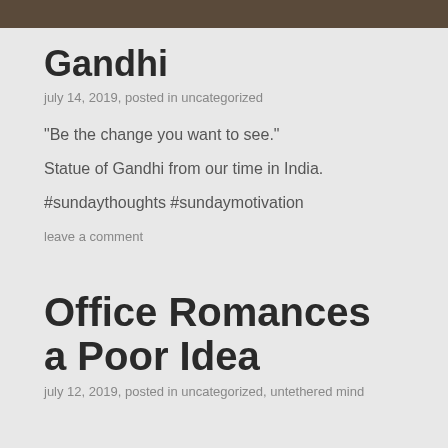[Figure (photo): Top strip of a photo showing a statue of Gandhi, dark tones with fabric/textile background]
Gandhi
july 14, 2019, posted in uncategorized
“Be the change you want to see.”
Statue of Gandhi from our time in India.
#sundaythoughts #sundaymotivation
leave a comment
Office Romances a Poor Idea
july 12, 2019, posted in uncategorized, untethered mind